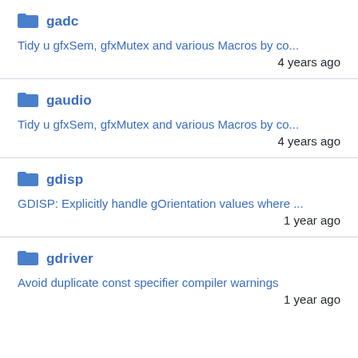gadc
Tidy u gfxSem, gfxMutex and various Macros by co...
4 years ago
gaudio
Tidy u gfxSem, gfxMutex and various Macros by co...
4 years ago
gdisp
GDISP: Explicitly handle gOrientation values where ...
1 year ago
gdriver
Avoid duplicate const specifier compiler warnings
1 year ago